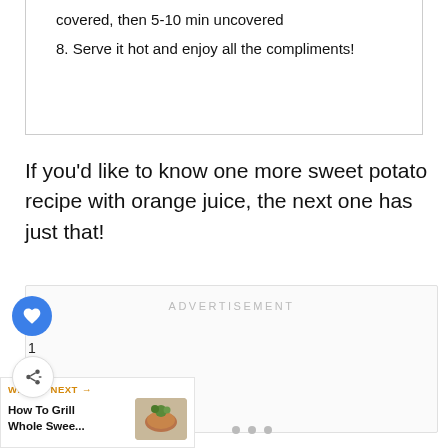covered, then 5-10 min uncovered
8. Serve it hot and enjoy all the compliments!
If you'd like to know one more sweet potato recipe with orange juice, the next one has just that!
[Figure (other): Advertisement placeholder box with ADVERTISEMENT label]
1
[Figure (other): Heart/like button (blue circle with heart icon)]
[Figure (other): Share button (circle with share icon)]
WHAT'S NEXT → How To Grill Whole Swee...